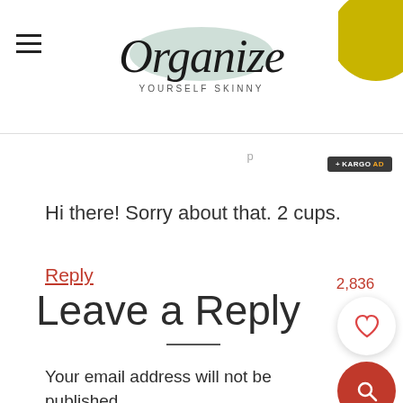Organize Yourself Skinny
Hi there! Sorry about that. 2 cups.
Reply
Leave a Reply
Your email address will not be published.